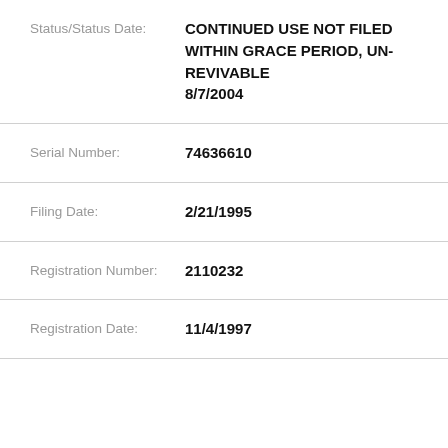Status/Status Date: CONTINUED USE NOT FILED WITHIN GRACE PERIOD, UN-REVIVABLE 8/7/2004
Serial Number: 74636610
Filing Date: 2/21/1995
Registration Number: 2110232
Registration Date: 11/4/1997